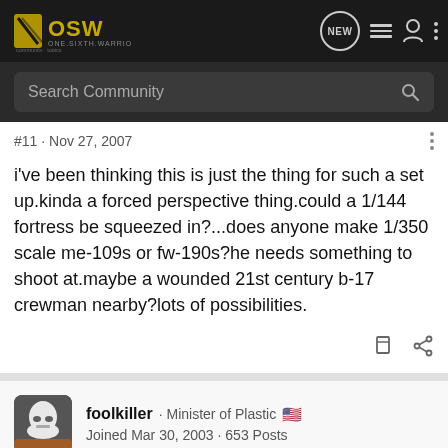[Figure (screenshot): OSW One Sixth Warriors forum navigation bar with logo, search box, and nav icons]
#11 · Nov 27, 2007
i've been thinking this is just the thing for such a set up.kinda a forced perspective thing.could a 1/144 fortress be squeezed in?...does anyone make 1/350 scale me-109s or fw-190s?he needs something to shoot at.maybe a wounded 21st century b-17 crewman nearby?lots of possibilities.
foolkiller · Minister of Plastic 🇺🇸
Joined Mar 30, 2003 · 653 Posts
#12 · Nov 27, 2007